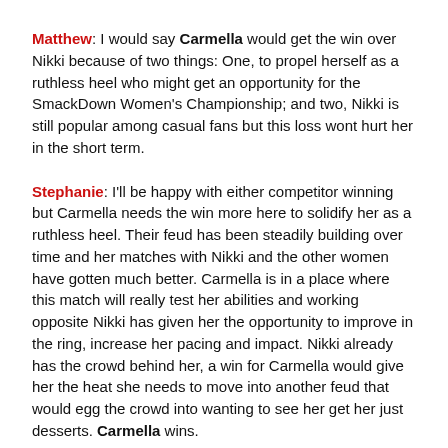Matthew: I would say Carmella would get the win over Nikki because of two things: One, to propel herself as a ruthless heel who might get an opportunity for the SmackDown Women's Championship; and two, Nikki is still popular among casual fans but this loss wont hurt her in the short term.
Stephanie: I'll be happy with either competitor winning but Carmella needs the win more here to solidify her as a ruthless heel. Their feud has been steadily building over time and her matches with Nikki and the other women have gotten much better. Carmella is in a place where this match will really test her abilities and working opposite Nikki has given her the opportunity to improve in the ring, increase her pacing and impact. Nikki already has the crowd behind her, a win for Carmella would give her the heat she needs to move into another feud that would egg the crowd into wanting to see her get her just desserts. Carmella wins.